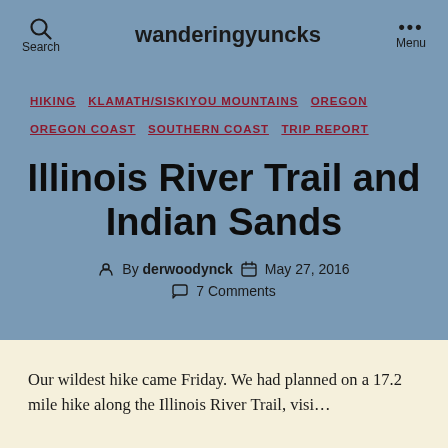wanderingyuncks
HIKING  KLAMATH/SISKIYOU MOUNTAINS  OREGON  OREGON COAST  SOUTHERN COAST  TRIP REPORT
Illinois River Trail and Indian Sands
By derwoodynck  May 27, 2016  7 Comments
Our wildest hike came Friday. We had planned on a 17.2 mile hike along the Illinois River Trail, visiting Sandy